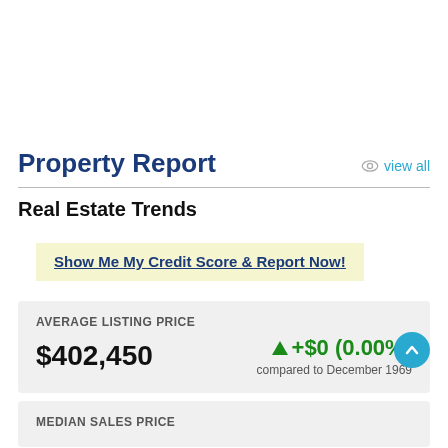Property Report
view all
Real Estate Trends
Show Me My Credit Score & Report Now!
AVERAGE LISTING PRICE
$402,450
+$0 (0.00%)
compared to December 1969
MEDIAN SALES PRICE